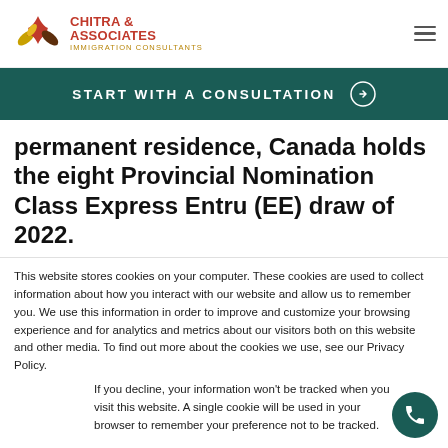Chitra & Associates Immigration Consultants
START WITH A CONSULTATION
permanent residence, Canada holds the eight Provincial Nomination Class Express Entru (EE) draw of 2022.
This website stores cookies on your computer. These cookies are used to collect information about how you interact with our website and allow us to remember you. We use this information in order to improve and customize your browsing experience and for analytics and metrics about our visitors both on this website and other media. To find out more about the cookies we use, see our Privacy Policy.
If you decline, your information won't be tracked when you visit this website. A single cookie will be used in your browser to remember your preference not to be tracked.